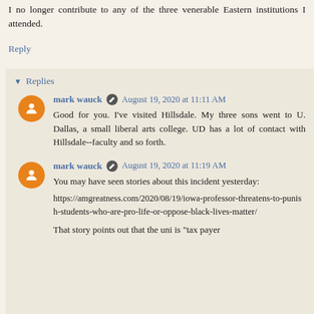I no longer contribute to any of the three venerable Eastern institutions I attended.
Reply
Replies
mark wauck   August 19, 2020 at 11:11 AM
Good for you. I've visited Hillsdale. My three sons went to U. Dallas, a small liberal arts college. UD has a lot of contact with Hillsdale--faculty and so forth.
mark wauck   August 19, 2020 at 11:19 AM
You may have seen stories about this incident yesterday:
https://amgreatness.com/2020/08/19/iowa-professor-threatens-to-punish-students-who-are-pro-life-or-oppose-black-lives-matter/
That story points out that the uni is "tax payer funded." And this is just one example of the kind of thing that's happening.